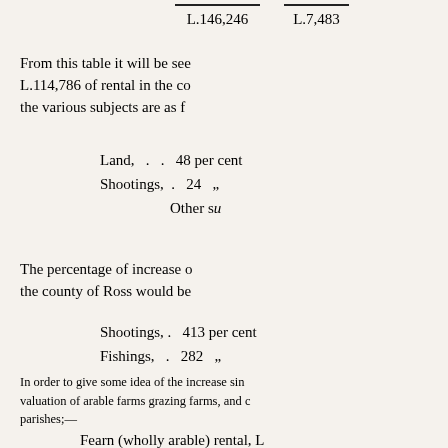L.146,246   L.7,483
From this table it will be seen that L.114,786 of rental in the county, the various subjects are as f
Land,  .  .  48 per cent
Shootings,  .  24  ,,
Other su
The percentage of increase on the county of Ross would be
Shootings,  .  413 per cent
Fishings,  .  282  ,,
In order to give some idea of the increase sin valuation of arable farms grazing farms, and c parishes;—
Fearn (wholly arable) rental, L